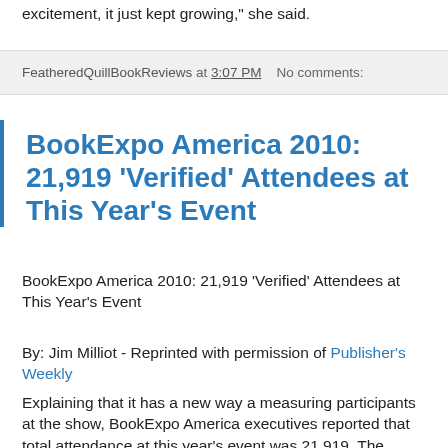excitement, it just kept growing," she said.
FeatheredQuillBookReviews at 3:07 PM   No comments:
BookExpo America 2010: 21,919 'Verified' Attendees at This Year's Event
BookExpo America 2010: 21,919 'Verified' Attendees at This Year's Event
By: Jim Milliot - Reprinted with permission of Publisher's Weekly
Explaining that it has a new way a measuring participants at the show, BookExpo America executives reported that total attendance at this year's event was 21,919. The “verified” figure includes all those who attended BEA; in the past BEA had verified attendees, but not exhibitors, 2010 the